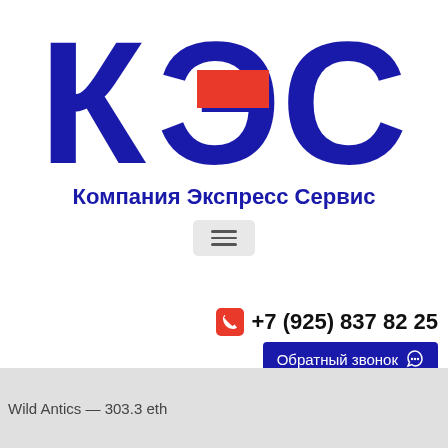[Figure (logo): КЭС logo with large Cyrillic letters К, Э, С in dark blue, a red rectangle behind the Э, and subtitle Компания Экспресс Сервис]
Компания Экспресс Сервис
[Figure (other): Hamburger menu button (three horizontal lines) in a grey rounded rectangle]
+7 (925) 837 82 25
Обратный звонок
Wild Antics — 303.3 eth